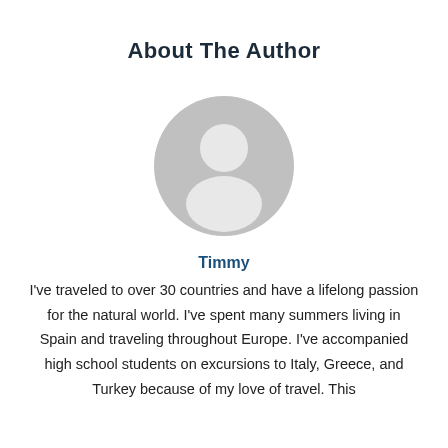About The Author
[Figure (illustration): Generic grey placeholder avatar icon showing a person silhouette with a circular head and rounded shoulders]
Timmy
I've traveled to over 30 countries and have a lifelong passion for the natural world. I've spent many summers living in Spain and traveling throughout Europe. I've accompanied high school students on excursions to Italy, Greece, and Turkey because of my love of travel. This